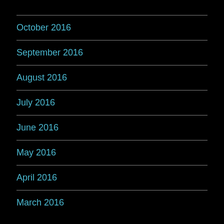October 2016
September 2016
August 2016
July 2016
June 2016
May 2016
April 2016
March 2016